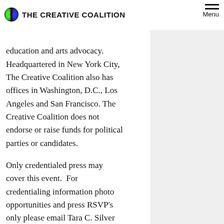THE CREATIVE COALITION
of public importance, primarily the First Amendment, public education and arts advocacy. Headquartered in New York City, The Creative Coalition also has offices in Washington, D.C., Los Angeles and San Francisco. The Creative Coalition does not endorse or raise funds for political parties or candidates.
Only credentialed press may cover this event.  For credentialing information photo opportunities and press RSVP's only please email Tara C. Silver at tara@westinrinehart.com, 202.466.1396
#  #  #